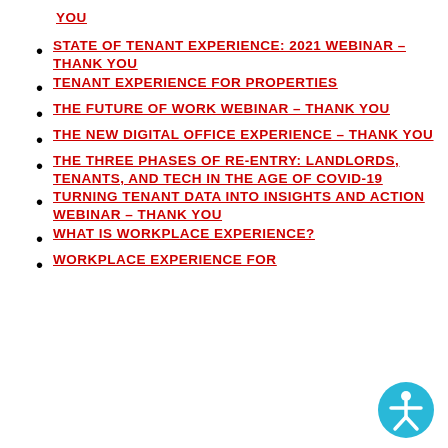YOU
STATE OF TENANT EXPERIENCE: 2021 WEBINAR – THANK YOU
TENANT EXPERIENCE FOR PROPERTIES
THE FUTURE OF WORK WEBINAR – THANK YOU
THE NEW DIGITAL OFFICE EXPERIENCE – THANK YOU
THE THREE PHASES OF RE-ENTRY: LANDLORDS, TENANTS, AND TECH IN THE AGE OF COVID-19
TURNING TENANT DATA INTO INSIGHTS AND ACTION WEBINAR – THANK YOU
WHAT IS WORKPLACE EXPERIENCE?
WORKPLACE EXPERIENCE FOR
[Figure (illustration): Accessibility icon: a circular cyan/blue button with a white human figure with arms extended]